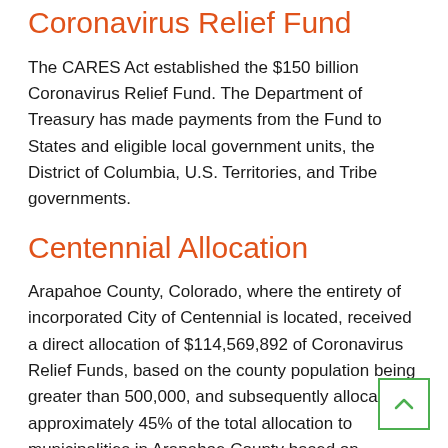Coronavirus Relief Fund
The CARES Act established the $150 billion Coronavirus Relief Fund. The Department of Treasury has made payments from the Fund to States and eligible local government units, the District of Columbia, U.S. Territories, and Tribe governments.
Centennial Allocation
Arapahoe County, Colorado, where the entirety of incorporated City of Centennial is located, received a direct allocation of $114,569,892 of Coronavirus Relief Funds, based on the county population being greater than 500,000, and subsequently allocated approximately 45% of the total allocation to municipalities in Arapahoe County based on